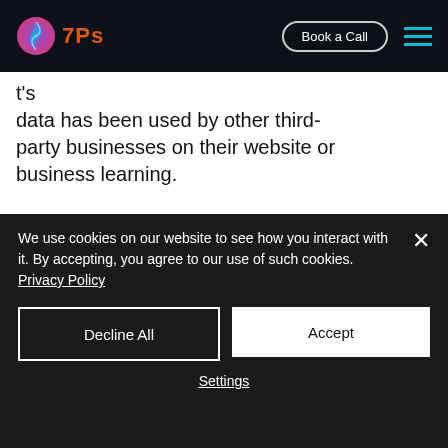7Ps — Book a Call [navigation bar]
t's data has been used by other third-party businesses on their website or business learning.
[Figure (screenshot): Dark footer section of 7Ps website showing logo, tagline 'Seven Ps Creative Digital Agency India', SERVICES and OTHER LINKS columns]
We use cookies on our website to see how you interact with it. By accepting, you agree to our use of such cookies. Privacy Policy
Decline All | Accept | Settings